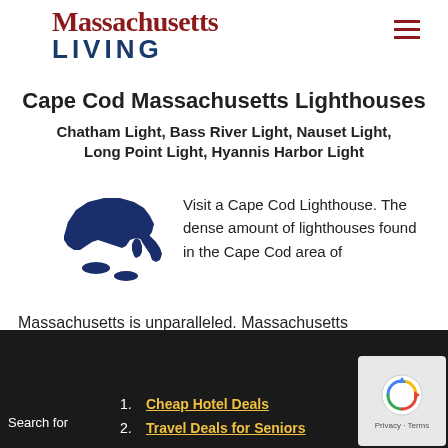[Figure (logo): Massachusetts LIVING logo with serif red Massachusetts and bold blue LIVING text]
Cape Cod Massachusetts Lighthouses
Chatham Light, Bass River Light, Nauset Light, Long Point Light, Hyannis Harbor Light
[Figure (map): Dark blue silhouette map of Massachusetts state]
Visit a Cape Cod Lighthouse. The dense amount of lighthouses found in the Cape Cod area of Massachusetts is unparalleled. Massachusetts lighthouses on Martha's Vineyard and Nantucket Island are located in some of the most beautiful settings – near beaches, on rock bluffs, and surrounded by Atlantic ocean views. Some Cape Cod lighthouses are not open to the public. Ask us about visiting Massachusetts or share comments
1. Cheap Hotel Deals
2. Travel Deals for Seniors